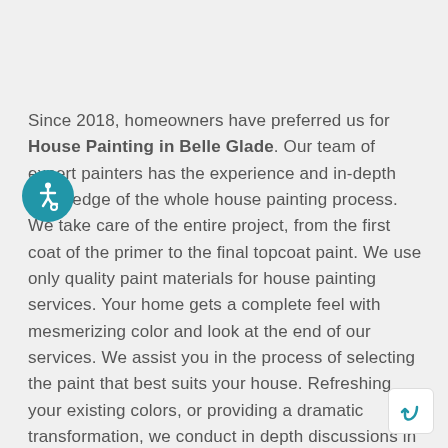Since 2018, homeowners have preferred us for House Painting in Belle Glade. Our team of expert painters has the experience and in-depth knowledge of the whole house painting process. We take care of the entire project, from the first coat of the primer to the final topcoat paint. We use only quality paint materials for house painting services. Your home gets a complete feel with mesmerizing color and look at the end of our services. We assist you in the process of selecting the paint that best suits your house. Refreshing your existing colors, or providing a dramatic transformation, we conduct in depth discussions in order to fully understand your needs and expectations.
[Figure (illustration): Accessibility icon — white wheelchair user symbol on a teal/blue circular background]
[Figure (illustration): Back-to-top button — teal return/up arrow icon in a white rounded square button in the bottom-right corner]